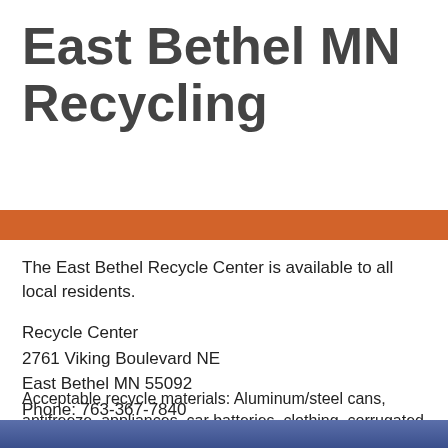East Bethel MN Recycling
The East Bethel Recycle Center is available to all local residents.
Recycle Center
2761 Viking Boulevard NE
East Bethel MN 55092
Phone: 763-367-7840
Acceptable recycle materials: Aluminum/steel cans, antifreeze, appliances, car batteries, clothing, corrugated cardboard, glass(bottles, jars), and excetra. To get more information on what you can recycle click here.